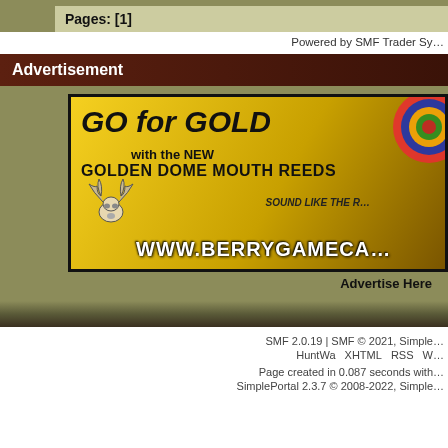Pages: [1]
Powered by SMF Trader Sy…
Advertisement
[Figure (illustration): GO for GOLD with the NEW GOLDEN DOME MOUTH REEDS advertisement banner for WWW.BERRYGAMECA… with elk skull logo and colorful spiral]
Advertise Here
SMF 2.0.19 | SMF © 2021, Simple
HuntWa  XHTML  RSS  W…
Page created in 0.087 seconds with…
SimplePortal 2.3.7 © 2008-2022, Simple…